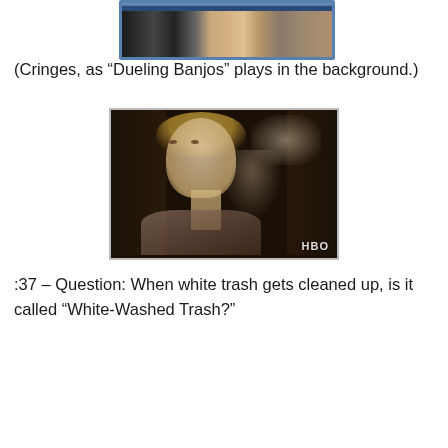[Figure (screenshot): Partial top image showing two people, cropped at the top of the page, appears to be a Blu-ray or movie cover with blue border]
(Cringes, as “Dueling Banjos” plays in the background.)
[Figure (screenshot): HBO screenshot showing a blonde woman looking upward with a serious or surprised expression, in a dimly lit scene. HBO watermark visible in bottom right corner.]
:37 – Question: When white trash gets cleaned up, is it called “White-Washed Trash?”